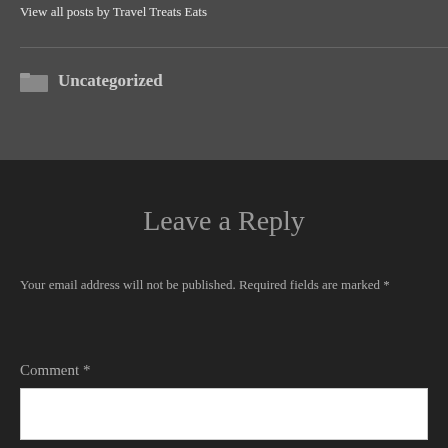View all posts by Travel Treats Eats
Uncategorized
Leave a Reply
Your email address will not be published. Required fields are marked *
Comment *